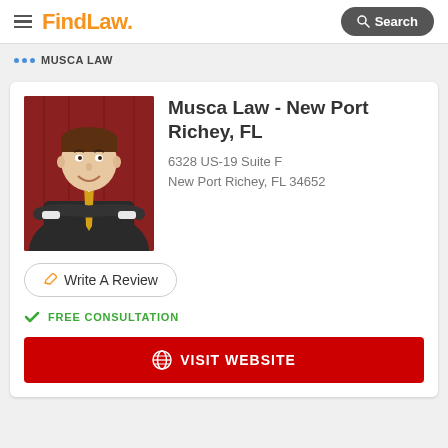FindLaw
MUSCA LAW
Musca Law - New Port Richey, FL
6328 US-19 Suite F
New Port Richey, FL 34652
[Figure (photo): Attorney portrait photo in dark suit with yellow tie, arms crossed, in front of wood-paneled background]
Write A Review
FREE CONSULTATION
VISIT WEBSITE